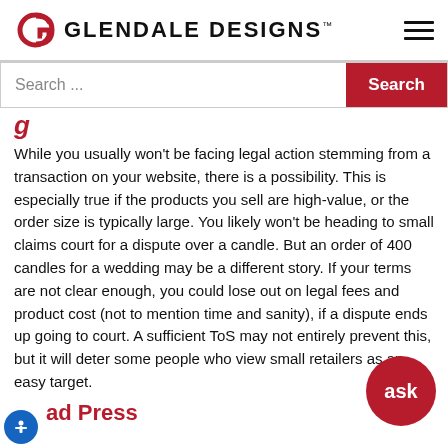Glendale Designs™
Search ...
g
While you usually won't be facing legal action stemming from a transaction on your website, there is a possibility. This is especially true if the products you sell are high-value, or the order size is typically large. You likely won't be heading to small claims court for a dispute over a candle. But an order of 400 candles for a wedding may be a different story. If your terms are not clear enough, you could lose out on legal fees and product cost (not to mention time and sanity), if a dispute ends up going to court. A sufficient ToS may not entirely prevent this, but it will deter some people who view small retailers as an easy target.
ad Press